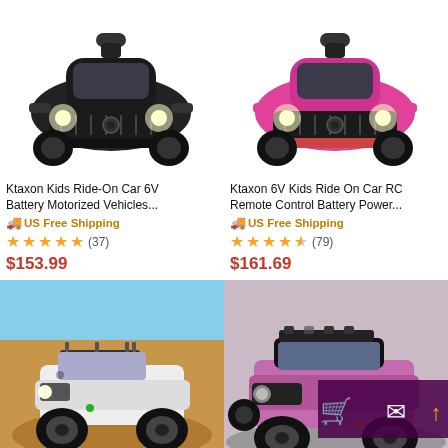[Figure (photo): Black kids ride-on car, front view, white background]
[Figure (photo): Pink kids ride-on car, front view, white background]
Ktaxon Kids Ride-On Car 6V Battery Motorized Vehicles...
🚚 US Free Shipping
★★★★★ (37)
$153.99
Ktaxon 6V Kids Ride On Car RC Remote Control Battery Power...
🚚 US Free Shipping
★★★★½ (79)
$161.69
[Figure (photo): White Jeep-style ride-on car on sandy terrain outdoors]
[Figure (photo): Pink/black Jeep-style ride-on car with overlay icons for cart, message, and share]